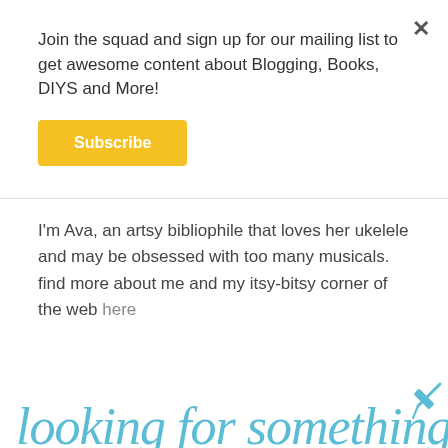×
Join the squad and sign up for our mailing list to get awesome content about Blogging, Books, DIYS and More!
Subscribe
I'm Ava, an artsy bibliophile that loves her ukulele and may be obsessed with too many musicals. find more about me and my itsy-bitsy corner of the web here
looking for something?